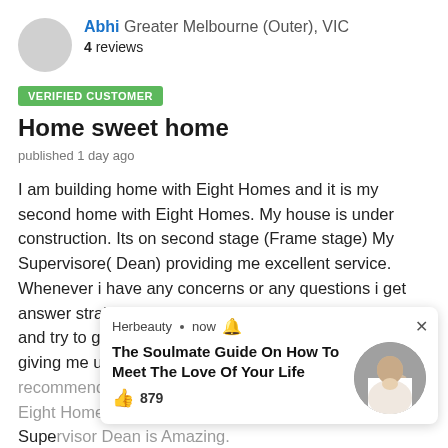[Figure (photo): Grey circular avatar placeholder image]
Abhi Greater Melbourne (Outer), VIC
4 reviews
VERIFIED CUSTOMER
Home sweet home
published 1 day ago
I am building home with Eight Homes and it is my second home with Eight Homes. My house is under construction. Its on second stage (Frame stage) My Supervisore( Dean) providing me excellent service. Whenever i have any concerns or any questions i get answer straight away. My supervisor Dean listen to me and try to give me answer asap.he is excellent with giving me updates throughout cons... hous... Supe...
...
Rea...
[Figure (screenshot): Ad overlay from Herbeauty: 'The Soulmate Guide On How To Meet The Love Of Your Life' with 879 likes and a circular photo]